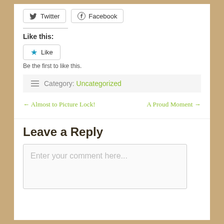[Figure (other): Twitter and Facebook social share buttons]
Like this:
[Figure (other): Like button with star icon]
Be the first to like this.
Category: Uncategorized
← Almost to Picture Lock!
A Proud Moment →
Leave a Reply
Enter your comment here...